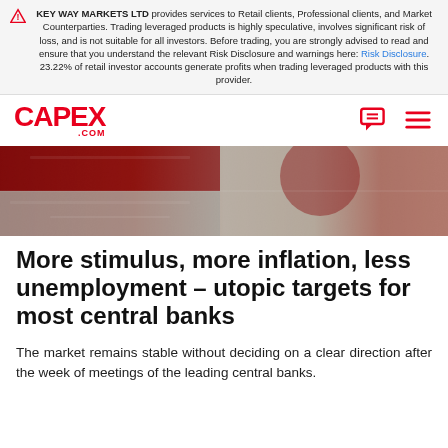KEY WAY MARKETS LTD provides services to Retail clients, Professional clients, and Market Counterparties. Trading leveraged products is highly speculative, involves significant risk of loss, and is not suitable for all investors. Before trading, you are strongly advised to read and ensure that you understand the relevant Risk Disclosure and warnings here: Risk Disclosure. 23.22% of retail investor accounts generate profits when trading leveraged products with this provider.
[Figure (logo): CAPEX.COM logo in red]
[Figure (photo): Hero image showing textured red and white pattern resembling worn fabric or flag]
More stimulus, more inflation, less unemployment – utopic targets for most central banks
The market remains stable without deciding on a clear direction after the week of meetings of the leading central banks.